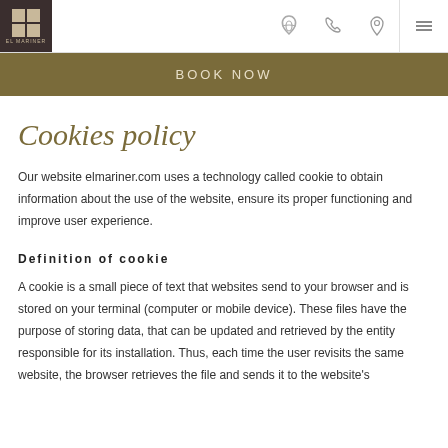EL MARINER — BOOK NOW
Cookies policy
Our website elmariner.com uses a technology called cookie to obtain information about the use of the website, ensure its proper functioning and improve user experience.
Definition of cookie
A cookie is a small piece of text that websites send to your browser and is stored on your terminal (computer or mobile device). These files have the purpose of storing data, that can be updated and retrieved by the entity responsible for its installation. Thus, each time the user revisits the same website, the browser retrieves the file and sends it to the website's